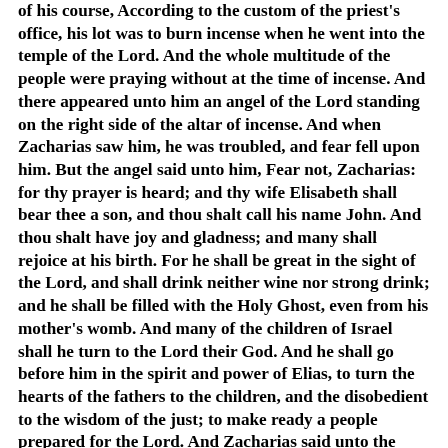of his course, According to the custom of the priest's office, his lot was to burn incense when he went into the temple of the Lord. And the whole multitude of the people were praying without at the time of incense. And there appeared unto him an angel of the Lord standing on the right side of the altar of incense. And when Zacharias saw him, he was troubled, and fear fell upon him. But the angel said unto him, Fear not, Zacharias: for thy prayer is heard; and thy wife Elisabeth shall bear thee a son, and thou shalt call his name John. And thou shalt have joy and gladness; and many shall rejoice at his birth. For he shall be great in the sight of the Lord, and shall drink neither wine nor strong drink; and he shall be filled with the Holy Ghost, even from his mother's womb. And many of the children of Israel shall he turn to the Lord their God. And he shall go before him in the spirit and power of Elias, to turn the hearts of the fathers to the children, and the disobedient to the wisdom of the just; to make ready a people prepared for the Lord. And Zacharias said unto the angel, Whereby shall I know this? for I am an old man, and my wife well stricken in years. And the angel answering said unto him, I am Gabriel, that stand in the presence of God; and am sent to speak unto